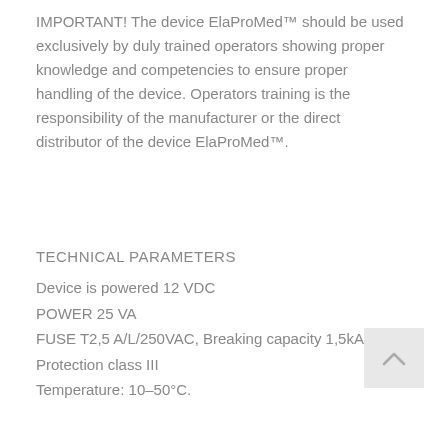IMPORTANT! The device ElaProMed™ should be used exclusively by duly trained operators showing proper knowledge and competencies to ensure proper handling of the device. Operators training is the responsibility of the manufacturer or the direct distributor of the device ElaProMed™.
TECHNICAL PARAMETERS
Device is powered 12 VDC
POWER 25 VA
FUSE T2,5 A/L/250VAC, Breaking capacity 1,5kA
Protection class III
Temperature: 10–50°C.
[Figure (other): Scroll-to-top button with upward chevron arrow on a light grey background]